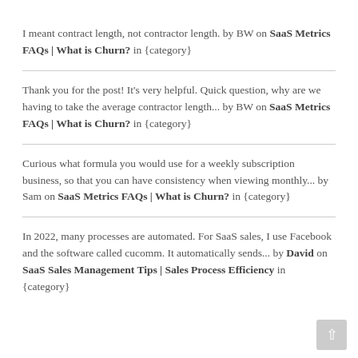I meant contract length, not contractor length. by BW on SaaS Metrics FAQs | What is Churn? in {category}
Thank you for the post! It's very helpful. Quick question, why are we having to take the average contractor length... by BW on SaaS Metrics FAQs | What is Churn? in {category}
Curious what formula you would use for a weekly subscription business, so that you can have consistency when viewing monthly... by Sam on SaaS Metrics FAQs | What is Churn? in {category}
In 2022, many processes are automated. For SaaS sales, I use Facebook and the software called cucomm. It automatically sends... by David on SaaS Sales Management Tips | Sales Process Efficiency in {category}